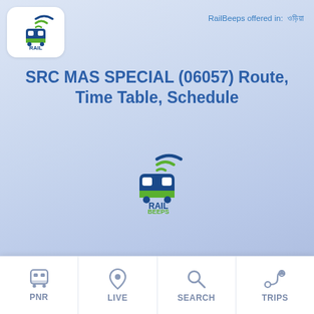[Figure (logo): RailBeeps logo - train icon with wifi signal arcs above, text RAIL BEEPS below, in a white rounded rectangle]
RailBeeps offered in:  ??????
SRC MAS SPECIAL (06057) Route, Time Table, Schedule
[Figure (logo): RailBeeps logo - larger version, center of page, train icon with wifi signal arcs above, text RAIL BEEPS]
[Figure (infographic): Bottom navigation bar with four items: PNR (train icon), LIVE (location pin icon), SEARCH (magnifying glass icon), TRIPS (navigation/route icon)]